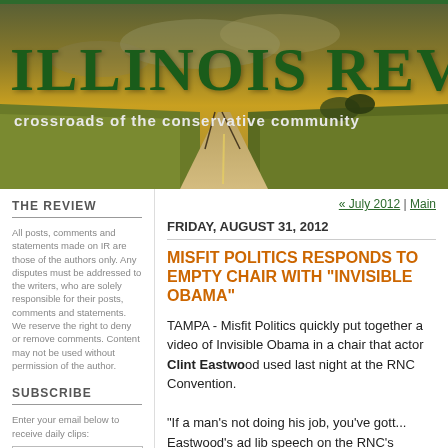[Figure (photo): Illinois Review website header banner showing a road through Illinois farmland with dramatic sky. Title 'ILLINOIS REVIEW' in large dark green serif text with subtitle 'crossroads of the conservative community']
THE REVIEW
All posts, comments and statements made on IR are those of the authors only. Any disputes must be addressed to the writers, who are solely responsible for their posts, comments and statements. We reserve the right to deny or remove comments. Content may not be used without permission of the author.
SUBSCRIBE
Enter your email below to receive daily clips:
« July 2012 | Main
FRIDAY, AUGUST 31, 2012
MISFIT POLITICS RESPONDS TO EMPTY CHAIR WITH "INVISIBLE OBAMA"
TAMPA - Misfit Politics quickly put together a video of Invisible Obama in a chair that actor Clint Eastwood used last night at the RNC Convention.
"If a man's not doing his job, you've gott... Eastwood's ad lib speech on the RNC's